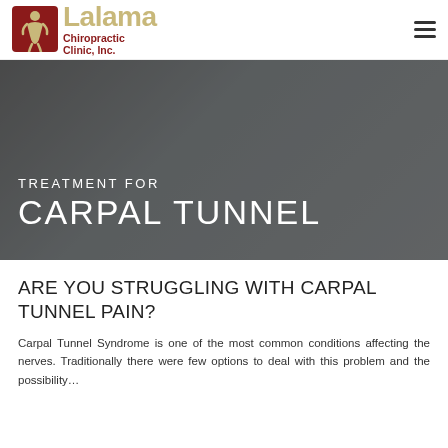[Figure (logo): Lalama Chiropractic Clinic, Inc. logo with icon of human spine/figure in red square and text in tan/gold and dark red]
TREATMENT FOR
CARPAL TUNNEL
ARE YOU STRUGGLING WITH CARPAL TUNNEL PAIN?
Carpal Tunnel Syndrome is one of the most common conditions affecting the nerves. Traditionally there were few options to deal with this problem and the possibility…